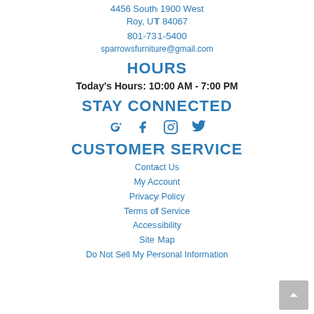4456 South 1900 West
Roy, UT 84067
801-731-5400
sparrowsfurniture@gmail.com
HOURS
Today's Hours: 10:00 AM - 7:00 PM
STAY CONNECTED
[Figure (infographic): Social media icons: Google+, Facebook, Instagram, Twitter]
CUSTOMER SERVICE
Contact Us
My Account
Privacy Policy
Terms of Service
Accessibility
Site Map
Do Not Sell My Personal Information